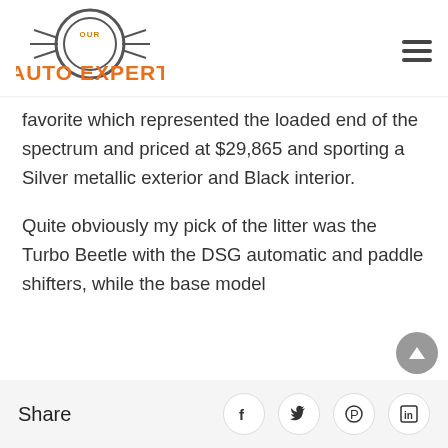[Figure (logo): Our Auto Expert logo with circular tire/gear emblem in grey and orange text]
favorite which represented the loaded end of the spectrum and priced at $29,865 and sporting a Silver metallic exterior and Black interior.
Quite obviously my pick of the litter was the Turbo Beetle with the DSG automatic and paddle shifters, while the base model
Share